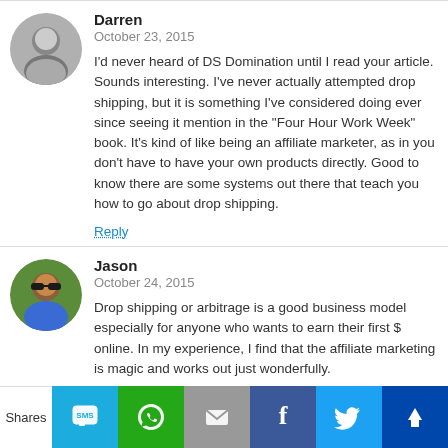Darren
October 23, 2015
I'd never heard of DS Domination until I read your article. Sounds interesting. I've never actually attempted drop shipping, but it is something I've considered doing ever since seeing it mention in the “Four Hour Work Week” book. It’s kind of like being an affiliate marketer, as in you don’t have to have your own products directly. Good to know there are some systems out there that teach you how to go about drop shipping.
Reply
Jason
October 24, 2015
Drop shipping or arbitrage is a good business model especially for anyone who wants to earn their first $ online. In my experience, I find that the affiliate marketing is magic and works out just wonderfully.
Thanks for stopping by Darren.
[Figure (infographic): Social share bar with SMS, WhatsApp, Email, Facebook, Twitter, and crown/more icons on colored buttons]